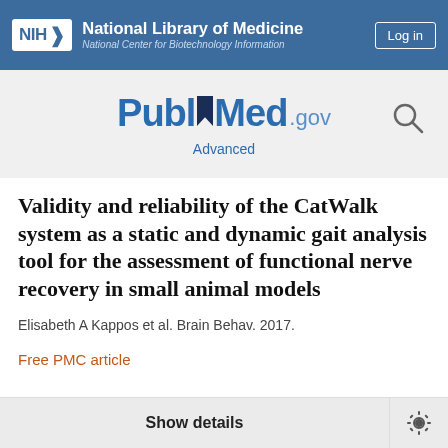[Figure (logo): NIH National Library of Medicine / National Center for Biotechnology Information header bar with Log in button]
[Figure (logo): PubMed.gov logo with search icon and Advanced link]
Validity and reliability of the CatWalk system as a static and dynamic gait analysis tool for the assessment of functional nerve recovery in small animal models
Elisabeth A Kappos et al. Brain Behav. 2017.
Free PMC article
Show details